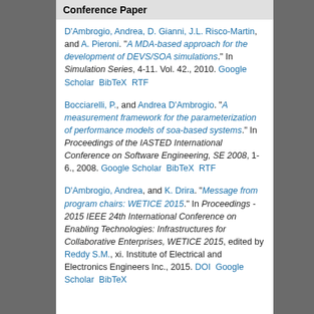Conference Paper
D'Ambrogio, Andrea, D. Gianni, J.L. Risco-Martin, and A. Pieroni. "A MDA-based approach for the development of DEVS/SOA simulations." In Simulation Series, 4-11. Vol. 42., 2010. Google Scholar  BibTeX  RTF
Bocciarelli, P., and Andrea D'Ambrogio. "A measurement framework for the parameterization of performance models of soa-based systems." In Proceedings of the IASTED International Conference on Software Engineering, SE 2008, 1-6., 2008. Google Scholar  BibTeX  RTF
D'Ambrogio, Andrea, and K. Drira. "Message from program chairs: WETICE 2015." In Proceedings - 2015 IEEE 24th International Conference on Enabling Technologies: Infrastructures for Collaborative Enterprises, WETICE 2015, edited by Reddy S.M., xi. Institute of Electrical and Electronics Engineers Inc., 2015. DOI  Google Scholar  BibTeX